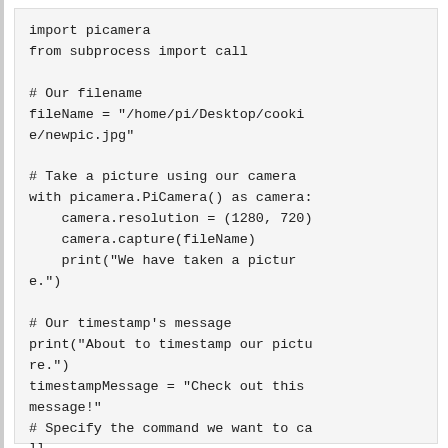import picamera
from subprocess import call

# Our filename
fileName = "/home/pi/Desktop/cookie/newpic.jpg"

# Take a picture using our camera
with picamera.PiCamera() as camera:
    camera.resolution = (1280, 720)
    camera.capture(fileName)
    print("We have taken a picture.")

# Our timestamp's message
print("About to timestamp our picture.")
timestampMessage = "Check out this message!"
# Specify the command we want to call
timestampCommand = "/usr/bin/convert " + fileName + " -pointsize 32 \ -fill red -annotate +700+500 '" + timestampMessage + "' " + fileName
# Execute our command
call([timestampCommand], shell=True)